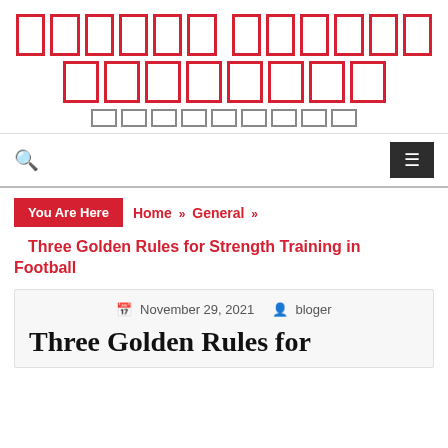[logo with redacted text in boxes - site header]
November 29, 2021  bloger
Three Golden Rules for Strength Training in Football
You Are Here  Home » General »
Three Golden Rules for